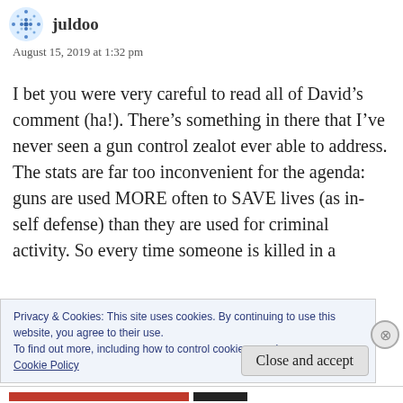[Figure (illustration): Avatar icon for user juldoo — blue snowflake/pattern circle avatar]
juldoo
August 15, 2019 at 1:32 pm
I bet you were very careful to read all of David’s comment (ha!). There’s something in there that I’ve never seen a gun control zealot ever able to address. The stats are far too inconvenient for the agenda: guns are used MORE often to SAVE lives (as in- self defense) than they are used for criminal activity. So every time someone is killed in a
Privacy & Cookies: This site uses cookies. By continuing to use this website, you agree to their use.
To find out more, including how to control cookies, see here:
Cookie Policy
Close and accept